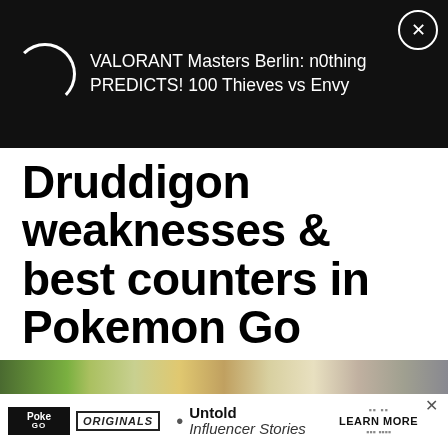[Figure (screenshot): Dark advertisement banner with spinning loading circle icon on left, text 'VALORANT Masters Berlin: n0thing PREDICTS! 100 Thieves vs Envy' in white, and a close (X) button in top-right corner]
Druddigon weaknesses & best counters in Pokemon Go
Daniel Megarry . Last updated: Aug 24, 2022
POKEMON GO
[Figure (photo): Pokemon Go screenshot at bottom of page with an advertisement overlay showing 'Untold Influencer Stories' with 'LEARN MORE' call to action]